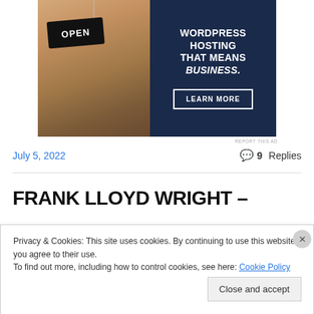[Figure (photo): Advertisement banner for WordPress hosting showing a woman holding an OPEN sign on the left and text 'WORDPRESS HOSTING THAT MEANS BUSINESS.' with a 'LEARN MORE' button on the right, dark navy background.]
REPORT THIS AD
July 5, 2022
9 Replies
FRANK LLOYD WRIGHT –
Privacy & Cookies: This site uses cookies. By continuing to use this website, you agree to their use.
To find out more, including how to control cookies, see here: Cookie Policy
Close and accept
REPORT THIS AD